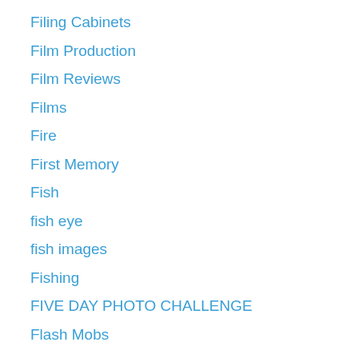Filing Cabinets
Film Production
Film Reviews
Films
Fire
First Memory
Fish
fish eye
fish images
Fishing
FIVE DAY PHOTO CHALLENGE
Flash Mobs
Flower images
Flowering Trees
Flowers
flowers of Mexico
Follow
Food
Forbidden
Forgetfulness